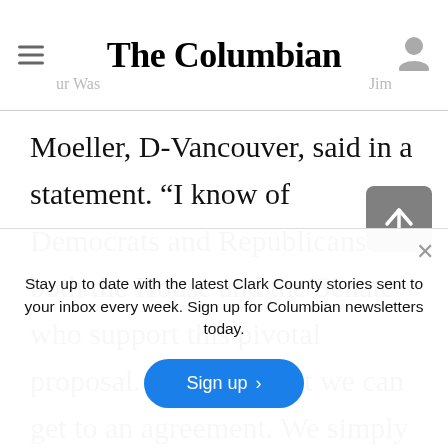The Columbian
Moeller, D-Vancouver, said in a statement. “I know of Democrats and Republicans in both the House and the Senate who support this pivotal proposal. I’m confident we can get to an agreement. We simply have to.”
Stay up to date with the latest Clark County stories sent to your inbox every week. Sign up for Columbian newsletters today.